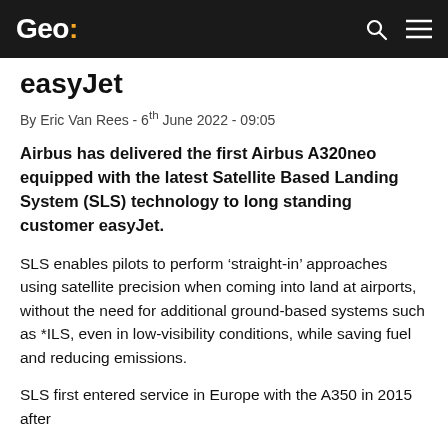Geo:
easyJet
By Eric Van Rees - 6th June 2022 - 09:05
Airbus has delivered the first Airbus A320neo equipped with the latest Satellite Based Landing System (SLS) technology to long standing customer easyJet.
SLS enables pilots to perform ‘straight-in’ approaches using satellite precision when coming into land at airports, without the need for additional ground-based systems such as *ILS, even in low-visibility conditions, while saving fuel and reducing emissions.
SLS first entered service in Europe with the A350 in 2015 after